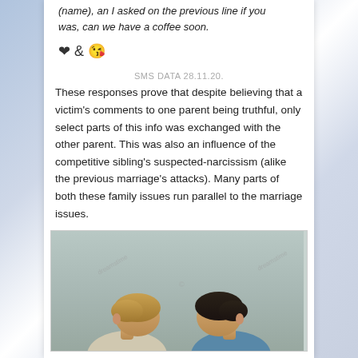(name), an I asked on the previous line if you was, can we have a coffee soon.
❤ & 😘
SMS DATA 28.11.20.
These responses prove that despite believing that a victim's comments to one parent being truthful, only select parts of this info was exchanged with the other parent. This was also an influence of the competitive sibling's suspected-narcissism (alike the previous marriage's attacks). Many parts of both these family issues run parallel to the marriage issues.
[Figure (photo): Two people facing each other bowing their heads, shot against a light grey/green background. Dreamstime watermark visible.]